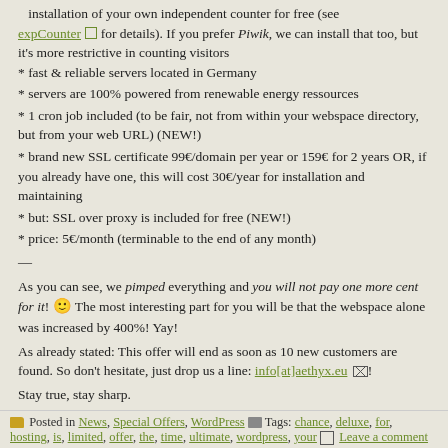installation of your own independent counter for free (see expCounter for details). If you prefer Piwik, we can install that too, but it's more restrictive in counting visitors
* fast & reliable servers located in Germany
* servers are 100% powered from renewable energy ressources
* 1 cron job included (to be fair, not from within your webspace directory, but from your web URL) (NEW!)
* brand new SSL certificate 99€/domain per year or 159€ for 2 years OR, if you already have one, this will cost 30€/year for installation and maintaining
* but: SSL over proxy is included for free (NEW!)
* price: 5€/month (terminable to the end of any month)
—
As you can see, we pimped everything and you will not pay one more cent for it! 🙂 The most interesting part for you will be that the webspace alone was increased by 400%! Yay!
As already stated: This offer will end as soon as 10 new customers are found. So don't hesitate, just drop us a line: info[at]aethyx.eu !
Stay true, stay sharp.
All the best,
the aethyx staff
Posted in News, Special Offers, WordPress  Tags: chance, deluxe, for, hosting, is, limited, offer, the, time, ultimate, wordpress, your  Leave a comment